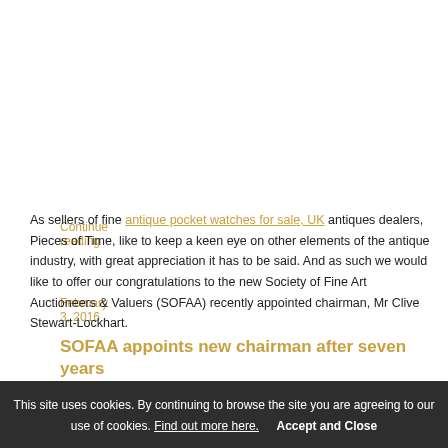Continue reading
February 3, 2016
SOFAA appoints new chairman after seven years
As sellers of fine antique pocket watches for sale, UK antiques dealers, Pieces of Time, like to keep a keen eye on other elements of the antique industry, with great appreciation it has to be said. And as such we would like to offer our congratulations to the new Society of Fine Art Auctioneers & Valuers (SOFAA) recently appointed chairman, Mr Clive Stewart-Lockhart.
This site uses cookies. By continuing to browse the site you are agreeing to our use of cookies. Find out more here.   Accept and Close